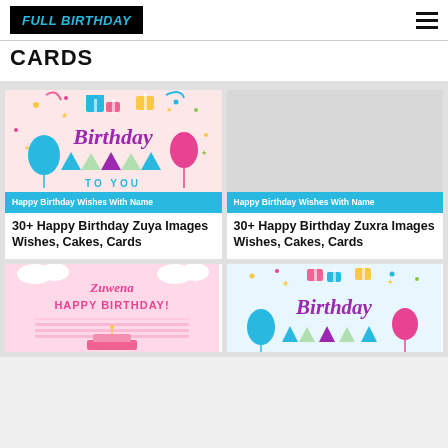FULL BIRTHDAY
CARDS
[Figure (illustration): Birthday card illustration with colorful balloons, gift boxes, confetti and cursive 'Birthday To You' text on pink background]
Happy Birthday Wishes With Name
30+ Happy Birthday Zuya Images Wishes, Cakes, Cards
[Figure (illustration): Placeholder gray rectangle for second card image]
Happy Birthday Wishes With Name
30+ Happy Birthday Zuxra Images Wishes, Cakes, Cards
[Figure (illustration): Pink birthday card with 'Zuwena Happy Birthday!' text and decorative elements]
[Figure (illustration): Birthday card with colorful balloons, gift boxes, and cursive 'Birthday' text]